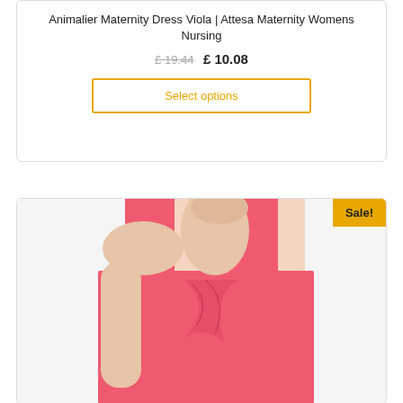Animalier Maternity Dress Viola | Attesa Maternity Womens Nursing
£ 19.44 £ 10.08
Select options
[Figure (photo): Woman wearing a coral/salmon sleeveless maternity nursing dress, shown from neck to waist, with a wrap-style draped front]